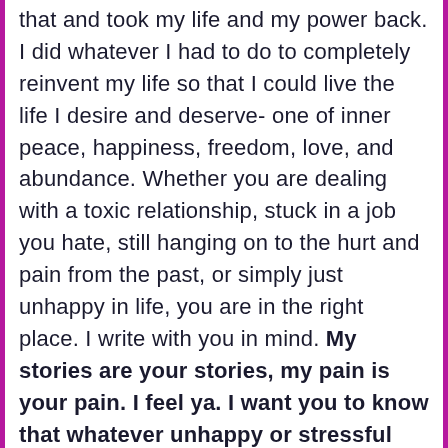that and took my life and my power back. I did whatever I had to do to completely reinvent my life so that I could live the life I desire and deserve- one of inner peace, happiness, freedom, love, and abundance. Whether you are dealing with a toxic relationship, stuck in a job you hate, still hanging on to the hurt and pain from the past, or simply just unhappy in life, you are in the right place. I write with you in mind. My stories are your stories, my pain is your pain. I feel ya. I want you to know that whatever unhappy or stressful situation